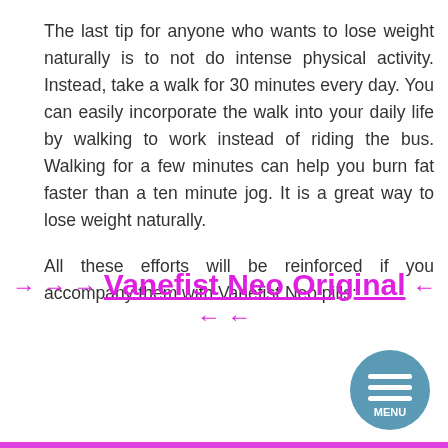The last tip for anyone who wants to lose weight naturally is to not do intense physical activity. Instead, take a walk for 30 minutes every day. You can easily incorporate the walk into your daily life by walking to work instead of riding the bus. Walking for a few minutes can help you burn fat faster than a ten minute jog. It is a great way to lose weight naturally.

All these efforts will be reinforced if you accompany them with Vanefist Neo pills:
→ → → Vanefist Neo Original ← ← ←
[Figure (other): Circular blue menu button with three horizontal white lines and the text MENU below them]